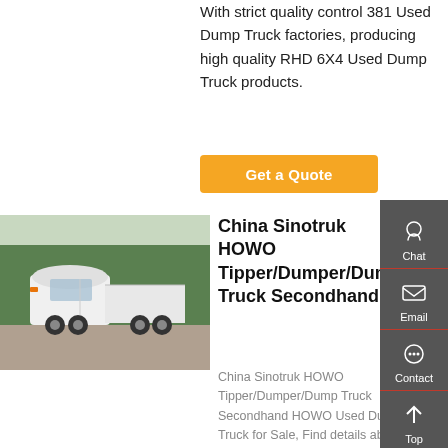With strict quality control 381 Used Dump Truck factories, producing high quality RHD 6X4 Used Dump Truck products.
[Figure (other): Orange 'Get a Quote' button]
[Figure (photo): White Sinotruk HOWO semi-truck/tractor viewed from the side, parked outdoors with trees in background]
China Sinotruk HOWO Tipper/Dumper/Dump Truck Secondhand
China Sinotruk HOWO Tipper/Dumper/Dump Truck Secondhand HOWO Used Dump Truck for Sale, Find details about China Dump Truck, Used Dump